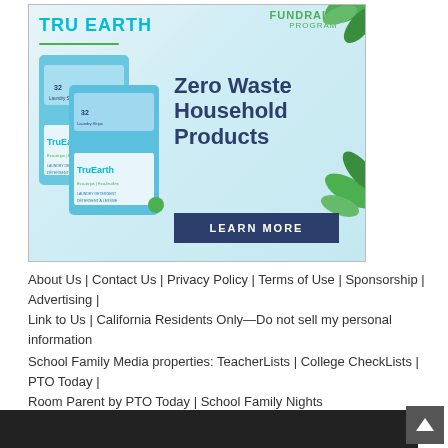[Figure (illustration): TruEarth Fundraising Program advertisement banner showing laundry detergent eco-strips packages with green leaves. Text reads 'Zero Waste Household Products' with a 'LEARN MORE' button on a dark navy background.]
About Us | Contact Us | Privacy Policy | Terms of Use | Sponsorship | Advertising | Link to Us | California Residents Only—Do not sell my personal information
School Family Media properties: TeacherLists | College CheckLists | PTO Today | Room Parent by PTO Today | School Family Nights